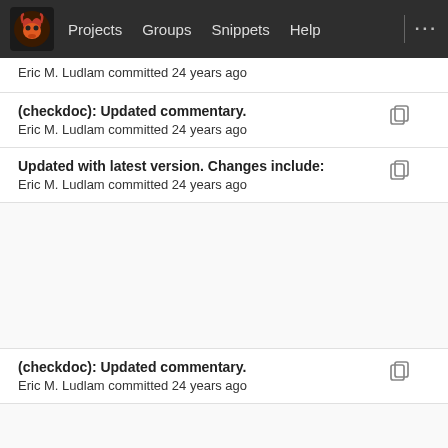Projects  Groups  Snippets  Help
Eric M. Ludlam committed 24 years ago
(checkdoc): Updated commentary.
Eric M. Ludlam committed 24 years ago
Updated with latest version. Changes include:
Eric M. Ludlam committed 24 years ago
(checkdoc): Updated commentary.
Eric M. Ludlam committed 24 years ago